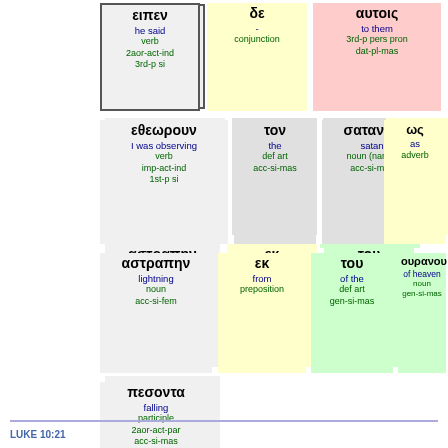[Figure (infographic): Greek word study diagram showing parsed Greek words with translations and grammatical labels in colored boxes arranged in rows]
LUKE 10:21